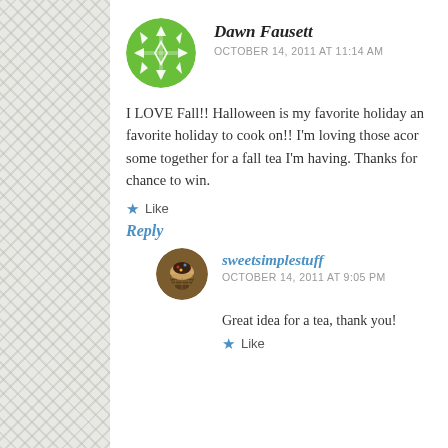[Figure (illustration): Green circular avatar with snowflake/geometric pattern for user Dawn Fausett]
Dawn Fausett
OCTOBER 14, 2011 AT 11:14 AM
I LOVE Fall!! Halloween is my favorite holiday and my favorite holiday to cook on!! I'm loving those acorn... some together for a fall tea I'm having. Thanks for... chance to win.
★ Like
Reply
[Figure (illustration): Brown circular avatar with cupcake image for user sweetsimplestuff]
sweetsimplestuff
OCTOBER 14, 2011 AT 9:05 PM
Great idea for a tea, thank you!
★ Like